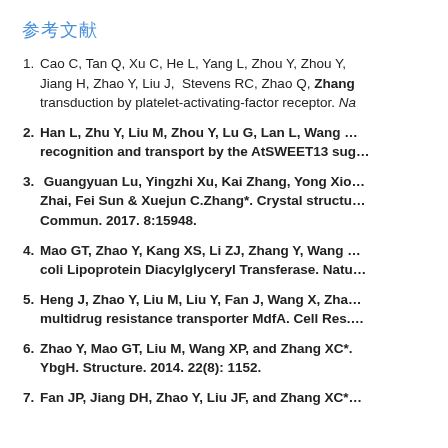参考文献
Cao C, Tan Q, Xu C, He L, Yang L, Zhou Y, Zhou Y, Jiang H, Zhao Y, Liu J, Stevens RC, Zhao Q, Zhang… transduction by platelet-activating-factor receptor. Na…
Han L, Zhu Y, Liu M, Zhou Y, Lu G, Lan L, Wang … recognition and transport by the AtSWEET13 sug…
Guangyuan Lu, Yingzhi Xu, Kai Zhang, Yong Xio… Zhai, Fei Sun & Xuejun C.Zhang*. Crystal structu… Commun. 2017. 8:15948.
Mao GT, Zhao Y, Kang XS, Li ZJ, Zhang Y, Wang … coli Lipoprotein Diacylglyceryl Transferase. Natu…
Heng J, Zhao Y, Liu M, Liu Y, Fan J, Wang X, Zha… multidrug resistance transporter MdfA. Cell Res.…
Zhao Y, Mao GT, Liu M, Wang XP, and Zhang XC*. YbgH. Structure. 2014. 22(8): 1152.
Fan JP, Jiang DH, Zhao Y, Liu JF, and Zhang XC*…